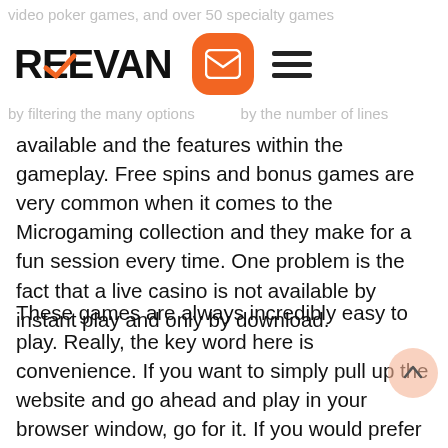video poker games, and over 50 specialty games
[Figure (logo): REEVAN logo with orange checkmark, orange envelope icon button, and hamburger menu icon]
by filtering the many options by the number of lines available and the features within the gameplay. Free spins and bonus games are very common when it comes to the Microgaming collection and they make for a fun session every time. One problem is the fact that a live casino is not available by instant play and only by download.
These games are always incredibly easy to play. Really, the key word here is convenience. If you want to simply pull up the website and go ahead and play in your browser window, go for it. If you would prefer to have the games directly on your computer, there is an easy and convenient download that actually does everything automatically, no technical knowledge required! Or, you